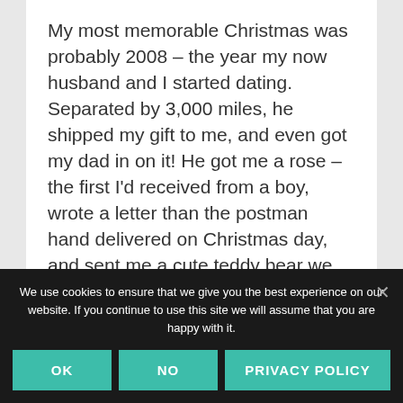My most memorable Christmas was probably 2008 – the year my now husband and I started dating. Separated by 3,000 miles, he shipped my gift to me, and even got my dad in on it! He got me a rose – the first I'd received from a boy, wrote a letter than the postman hand delivered on Christmas day, and sent me a cute teddy bear we had seen at the store a few weeks earlier. Turns out, he bid the
We use cookies to ensure that we give you the best experience on our website. If you continue to use this site we will assume that you are happy with it.